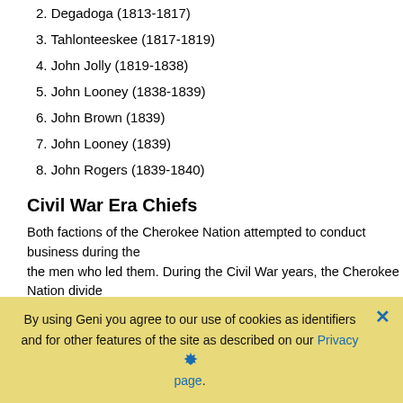2. Degadoga (1813-1817)
3. Tahlonteeskee (1817-1819)
4. John Jolly (1819-1838)
5. John Looney (1838-1839)
6. John Brown (1839)
7. John Looney (1839)
8. John Rogers (1839-1840)
Civil War Era Chiefs
Both factions of the Cherokee Nation attempted to conduct business during the men who led them. During the Civil War years, the Cherokee Nation divide factions. The National Council was dismissed and John Ross was in Philadelp conduct business when necessary. Temporary Chiefs were chosen to lead. Fo title of Chief for the Southern Cherokees.
Union Chiefs
Major Thomas Peggs, 1862 – 63
By using Geni you agree to our use of cookies as identifiers and for other features of the site as described on our Privacy page.